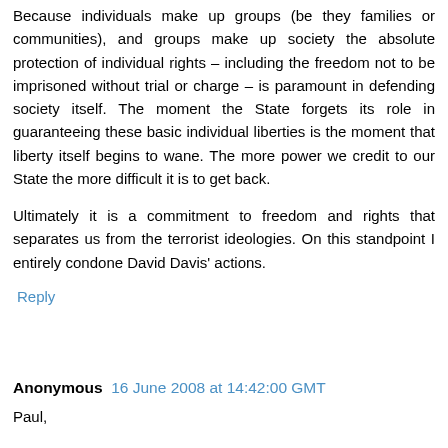Because individuals make up groups (be they families or communities), and groups make up society the absolute protection of individual rights – including the freedom not to be imprisoned without trial or charge – is paramount in defending society itself. The moment the State forgets its role in guaranteeing these basic individual liberties is the moment that liberty itself begins to wane. The more power we credit to our State the more difficult it is to get back.
Ultimately it is a commitment to freedom and rights that separates us from the terrorist ideologies. On this standpoint I entirely condone David Davis' actions.
Reply
Anonymous  16 June 2008 at 14:42:00 GMT
Paul,
I think you may be right.
My first reaction on hearing the news was 'WTF', followed by 'the pleasure that the story dominates today's...